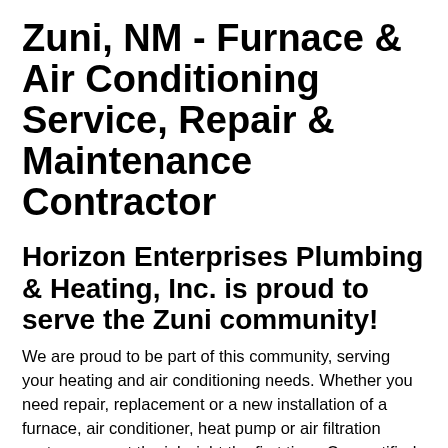Zuni, NM - Furnace & Air Conditioning Service, Repair & Maintenance Contractor
Horizon Enterprises Plumbing & Heating, Inc. is proud to serve the Zuni community!
We are proud to be part of this community, serving your heating and air conditioning needs. Whether you need repair, replacement or a new installation of a furnace, air conditioner, heat pump or air filtration system, we get the job right the first time. Our certified technicians service all furnace and air conditioning make and models.